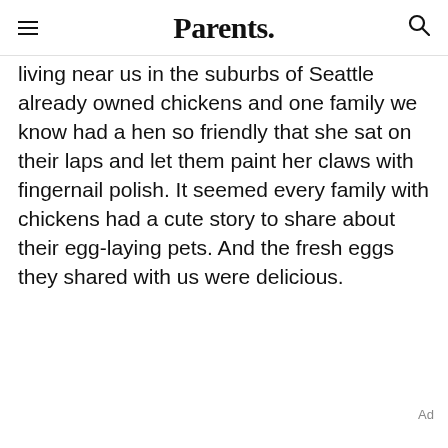Parents.
living near us in the suburbs of Seattle already owned chickens and one family we know had a hen so friendly that she sat on their laps and let them paint her claws with fingernail polish. It seemed every family with chickens had a cute story to share about their egg-laying pets. And the fresh eggs they shared with us were delicious.
Ad